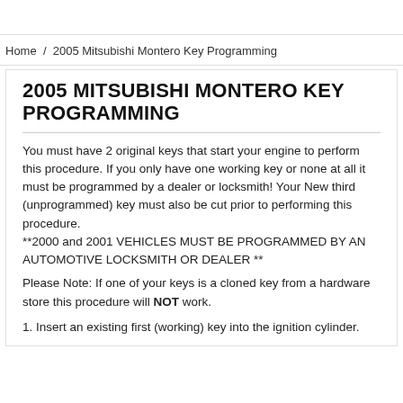Home / 2005 Mitsubishi Montero Key Programming
2005 MITSUBISHI MONTERO KEY PROGRAMMING
You must have 2 original keys that start your engine to perform this procedure. If you only have one working key or none at all it must be programmed by a dealer or locksmith! Your New third (unprogrammed) key must also be cut prior to performing this procedure.
**2000 and 2001 VEHICLES MUST BE PROGRAMMED BY AN AUTOMOTIVE LOCKSMITH OR DEALER **
Please Note: If one of your keys is a cloned key from a hardware store this procedure will NOT work.
1. Insert an existing first (working) key into the ignition cylinder.